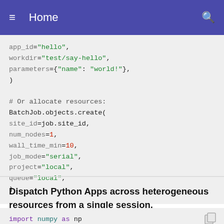Home
app_id="hello",
    workdir="test/say-hello",
    parameters={"name": "world!"},
)

# Or allocate resources:
BatchJob.objects.create(
    site_id=job.site_id,
    num_nodes=1,
    wall_time_min=10,
    job_mode="serial",
    project="local",
    queue="local",
)
Dispatch Python Apps across heterogeneous resources from a single session.
import numpy as np